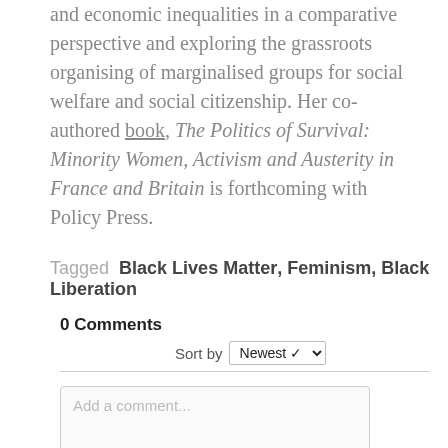and economic inequalities in a comparative perspective and exploring the grassroots organising of marginalised groups for social welfare and social citizenship. Her co-authored book, The Politics of Survival: Minority Women, Activism and Austerity in France and Britain is forthcoming with Policy Press.
Tagged  Black Lives Matter, Feminism, Black Liberation
0 Comments
Sort by Newest
Add a comment...